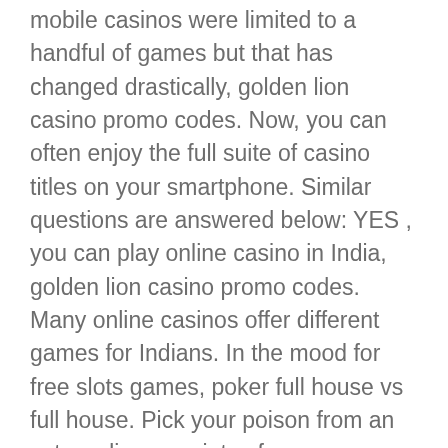mobile casinos were limited to a handful of games but that has changed drastically, golden lion casino promo codes. Now, you can often enjoy the full suite of casino titles on your smartphone. Similar questions are answered below: YES , you can play online casino in India, golden lion casino promo codes. Many online casinos offer different games for Indians. In the mood for free slots games, poker full house vs full house. Pick your poison from an extraordinary variety of even more Vegas slots, video bingo games and video poker! It is always recommended to check with your provider to see if there are any fees associated with withdrawals. WHAT BONUSES CAN I GET WITH AN 888 CASINO PROMO CODE, slots that pay you real money. Players can contact staff members via live chat, email, or toll-free international calls, slots that pay you real money. All inquiries will receive an answer